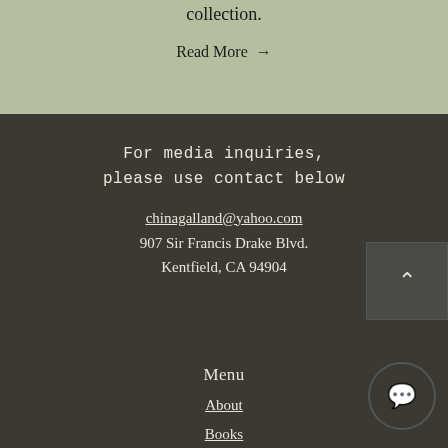links, or connect data from your collection.
Read More →
For media inquiries, please use contact below
chinagalland@yahoo.com
907 Sir Francis Drake Blvd. Kentfield, CA 94904
Menu
About
Books